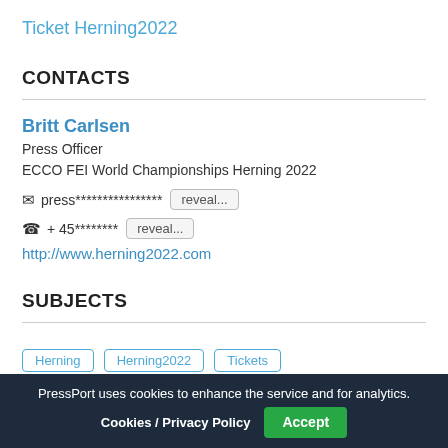Ticket Herning2022
CONTACTS
Britt Carlsen
Press Officer
ECCO FEI World Championships Herning 2022
✉ press**************** reveal...
☎ + 45******** reveal...
http://www.herning2022.com
SUBJECTS
Herning
Herning2022
Tickets
PressPort uses cookies to enhance the service and for analytics. Cookies / Privacy Policy  Accept